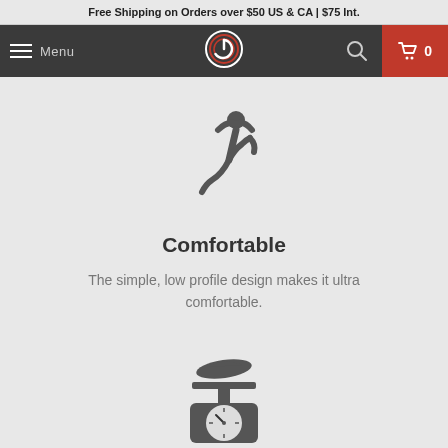Free Shipping on Orders over $50 US & CA | $75 Int.
[Figure (screenshot): Navigation bar with hamburger menu icon and 'Menu' text on left, circular logo icon in center, search icon and red cart button with '0' on right]
[Figure (illustration): Dark silhouette icon of a person reclining/relaxing with arms behind head]
Comfortable
The simple, low profile design makes it ultra comfortable.
[Figure (illustration): Dark silhouette icon of a kitchen scale with a small item on top]